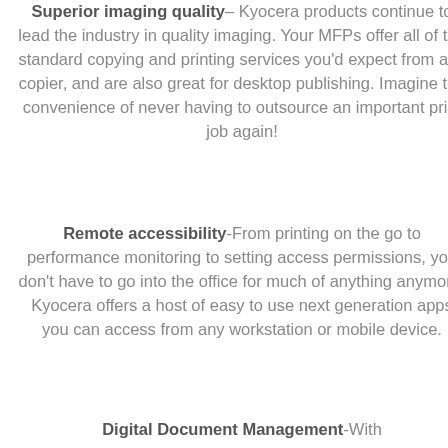Superior imaging quality– Kyocera products continue to lead the industry in quality imaging. Your MFPs offer all of the standard copying and printing services you'd expect from any copier, and are also great for desktop publishing. Imagine the convenience of never having to outsource an important print job again!
Remote accessibility-From printing on the go to performance monitoring to setting access permissions, you don't have to go into the office for much of anything anymore. Kyocera offers a host of easy to use next generation apps you can access from any workstation or mobile device.
Digital Document Management-With...